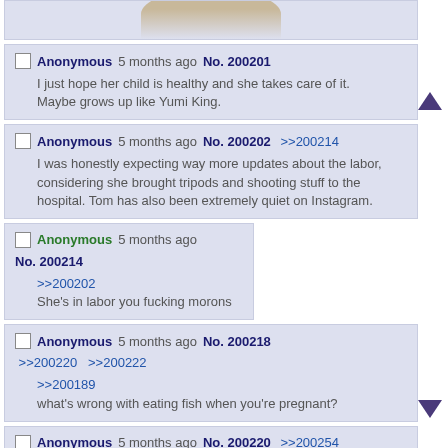[Figure (photo): Partial image at top of page, cropped forum post image]
Anonymous 5 months ago No. 200201
I just hope her child is healthy and she takes care of it. Maybe grows up like Yumi King.
Anonymous 5 months ago No. 200202 >>200214
I was honestly expecting way more updates about the labor, considering she brought tripods and shooting stuff to the hospital. Tom has also been extremely quiet on Instagram.
Anonymous 5 months ago No. 200214
>>200202
She's in labor you fucking morons
Anonymous 5 months ago No. 200218 >>200220 >>200222
>>200189
what's wrong with eating fish when you're pregnant?
Anonymous 5 months ago No. 200220 >>200254
>>200218
I hope you never have kids if you don't know how to use google.